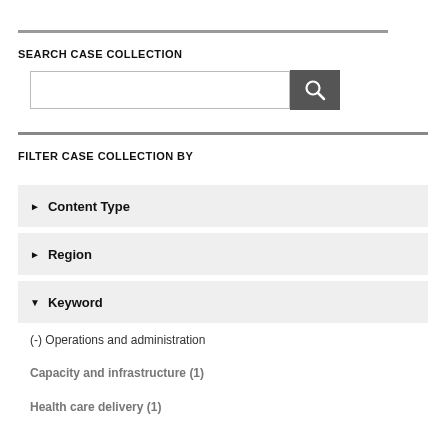SEARCH CASE COLLECTION
[Figure (screenshot): Search input box with search button]
FILTER CASE COLLECTION BY
▶ Content Type
▶ Region
▼ Keyword
(-) Operations and administration
Capacity and infrastructure (1)
Health care delivery (1)